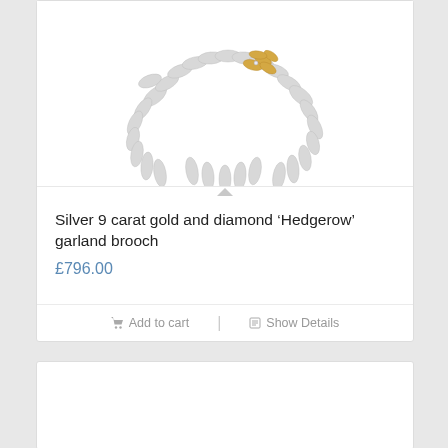[Figure (photo): Silver and gold 'Hedgerow' garland brooch jewelry product photo on white background]
Silver 9 carat gold and diamond ‘Hedgerow’ garland brooch
£796.00
Add to cart
Show Details
[Figure (photo): Partial second product card, image area empty/white]